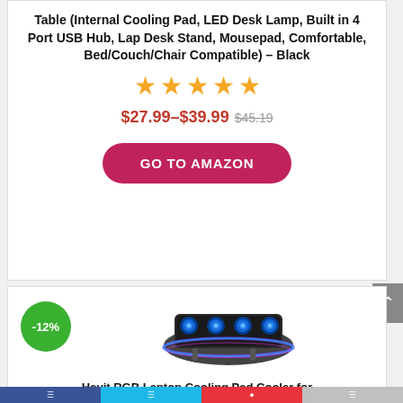Table (Internal Cooling Pad, LED Desk Lamp, Built in 4 Port USB Hub, Lap Desk Stand, Mousepad, Comfortable, Bed/Couch/Chair Compatible) – Black
[Figure (other): Five filled orange stars rating display]
$27.99–$39.99 $45.19
GO TO AMAZON
[Figure (photo): Laptop cooling pad with 4 blue LED fans and RGB lighting around the edges, shown at an angle. A green badge reads -12%.]
Havit RGB Laptop Cooling Pad Cooler for